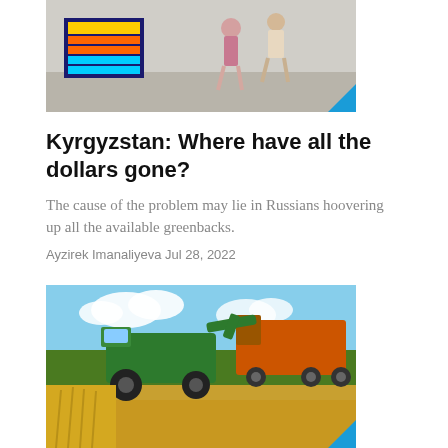[Figure (photo): Street scene with people walking past a currency exchange sign board, partial view cropped at top]
Kyrgyzstan: Where have all the dollars gone?
The cause of the problem may lie in Russians hoovering up all the available greenbacks.
Ayzirek Imanaliyeva Jul 28, 2022
[Figure (photo): Combine harvester in a wheat field unloading grain into a truck, sunny day with blue sky and clouds]